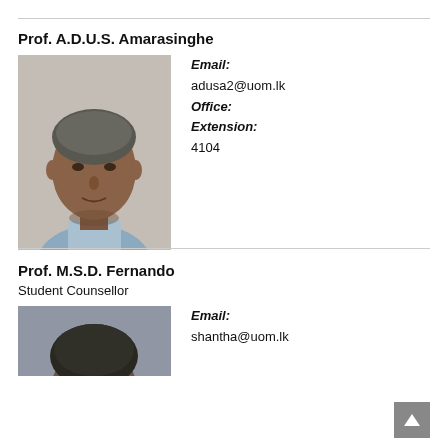Prof. A.D.U.S. Amarasinghe
[Figure (photo): Headshot photo of Prof. A.D.U.S. Amarasinghe, a man with short grey hair wearing a light blue collared shirt, photographed against a neutral background.]
Email: adusa2@uom.lk Office: Extension: 4104
Prof. M.S.D. Fernando
Student Counsellor
[Figure (photo): Partial headshot photo of Prof. M.S.D. Fernando, showing the top of the head only, against a grey-blue background.]
Email: shantha@uom.lk